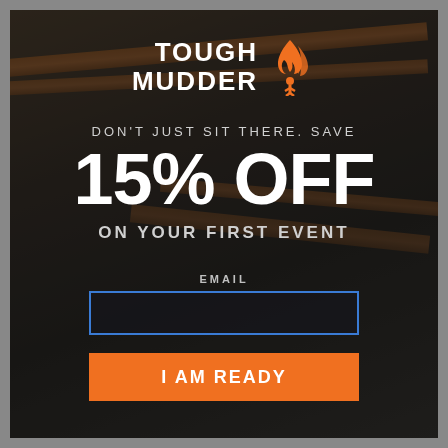[Figure (logo): Tough Mudder logo with flame icon — white bold text 'TOUGH MUDDER' with orange flame and person silhouette graphic to the right]
DON'T JUST SIT THERE. SAVE
15% OFF
ON YOUR FIRST EVENT
EMAIL
I AM READY